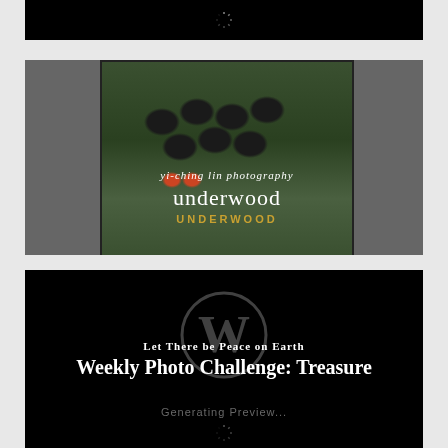[Figure (screenshot): Black loading panel at the top with a small spinner icon centered]
[Figure (photo): Photo of a vintage Underwood typewriter with dark green keys and body, overlaid with white text reading 'yi-ching lin photography' and 'underwood', with orange 'UNDERWOOD' branding visible on the typewriter]
[Figure (screenshot): Black panel with WordPress logo watermark, white text 'Let There be Peace on Earth' and 'Weekly Photo Challenge: Treasure', with 'Generating Preview...' text and loading spinner]